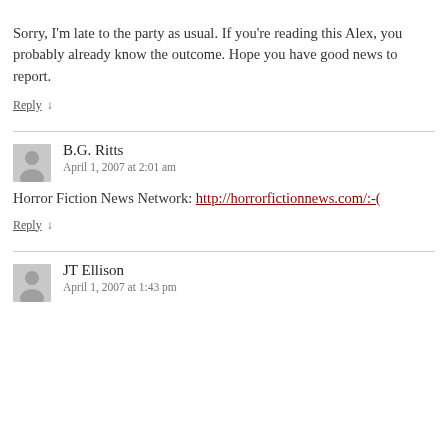Sorry, I'm late to the party as usual. If you're reading this Alex, you probably already know the outcome. Hope you have good news to report.
Reply ↓
B.G. Ritts
April 1, 2007 at 2:01 am
Horror Fiction News Network: http://horrorfictionnews.com/:-(
Reply ↓
JT Ellison
April 1, 2007 at 1:43 pm